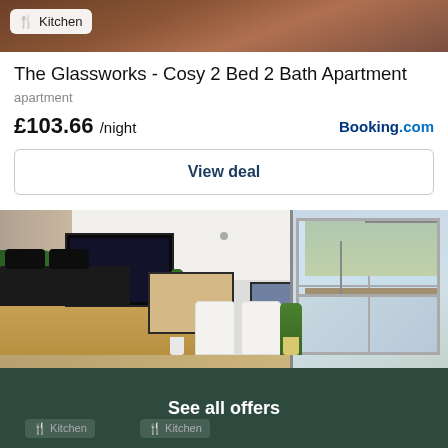[Figure (photo): Top portion of apartment interior photo showing kitchen badge overlay]
The Glassworks - Cosy 2 Bed 2 Bath Apartment
apartment
£103.66 /night
Booking.com
View deal
[Figure (photo): Interior photo of a bright modern apartment living room with TV, sofa, plants, artwork, chairs, and large windows on the right side]
See all offers